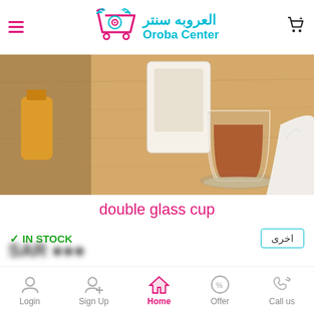Oroba Center / العروبه سنتر
[Figure (photo): Product photo of a double glass cup on a wooden table surface, with a white cloth and product box in the background.]
double glass cup
✓ IN STOCK
اخرى
Login | Sign Up | Home | Offer | Call us